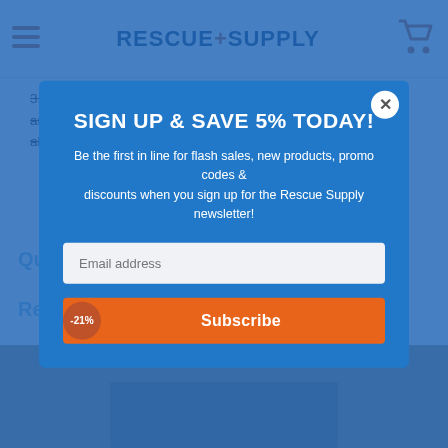RESCUE+SUPPLY
3. Relief hazmat placards are available in a variety of material and adhesive options. Click the Material Type dropdown menu above to see available stock materials for this placard.
Questions & Answers
Related Products
[Figure (screenshot): Email newsletter signup modal popup with blue background. Title: SIGN UP & SAVE 5% TODAY! Subtitle: Be the first in line for flash sales, new products, promo codes & discounts when you sign up for the Rescue Supply newsletter! Email address input field. Subscribe button in orange. Close button (X) in top right corner.]
[Figure (photo): Partial view of a product image at the bottom of the page, tan/brown colored background with a dark product box visible.]